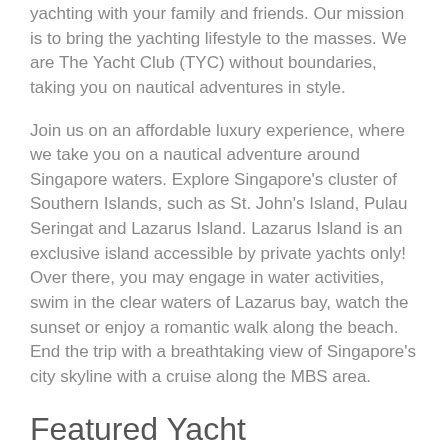yachting with your family and friends. Our mission is to bring the yachting lifestyle to the masses. We are The Yacht Club (TYC) without boundaries, taking you on nautical adventures in style.
Join us on an affordable luxury experience, where we take you on a nautical adventure around Singapore waters. Explore Singapore’s cluster of Southern Islands, such as St. John’s Island, Pulau Seringat and Lazarus Island. Lazarus Island is an exclusive island accessible by private yachts only! Over there, you may engage in water activities, swim in the clear waters of Lazarus bay, watch the sunset or enjoy a romantic walk along the beach. End the trip with a breathtaking view of Singapore’s city skyline with a cruise along the MBS area.
Featured Yacht